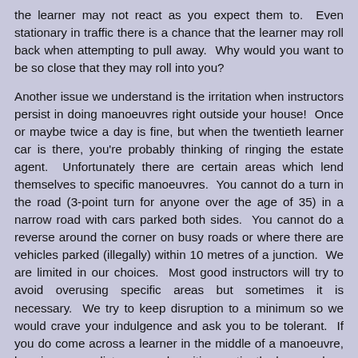the learner may not react as you expect them to. Even stationary in traffic there is a chance that the learner may roll back when attempting to pull away. Why would you want to be so close that they may roll into you?
Another issue we understand is the irritation when instructors persist in doing manoeuvres right outside your house! Once or maybe twice a day is fine, but when the twentieth learner car is there, you're probably thinking of ringing the estate agent. Unfortunately there are certain areas which lend themselves to specific manoeuvres. You cannot do a turn in the road (3-point turn for anyone over the age of 35) in a narrow road with cars parked both sides. You cannot do a reverse around the corner on busy roads or where there are vehicles parked (illegally) within 10 metres of a junction. We are limited in our choices. Most good instructors will try to avoid overusing specific areas but sometimes it is necessary. We try to keep disruption to a minimum so we would crave your indulgence and ask you to be tolerant. If you do come across a learner in the middle of a manoeuvre, keeping your distance and waiting patiently has such a positive effect on both learner and instructor and